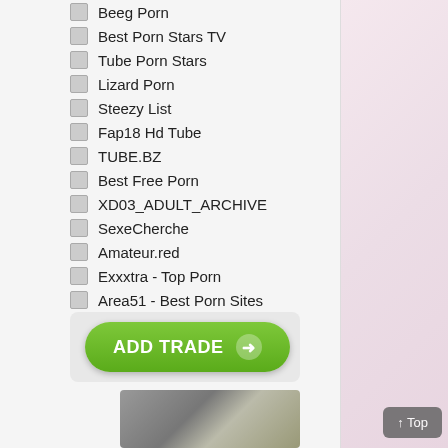Beeg Porn
Best Porn Stars TV
Tube Porn Stars
Lizard Porn
Steezy List
Fap18 Hd Tube
TUBE.BZ
Best Free Porn
XD03_ADULT_ARCHIVE
SexeCherche
Amateur.red
Exxxtra - Top Porn
Area51 - Best Porn Sites
[Figure (other): ADD TRADE button - green rounded rectangle with arrow icon]
[Figure (photo): Adult content thumbnail image]